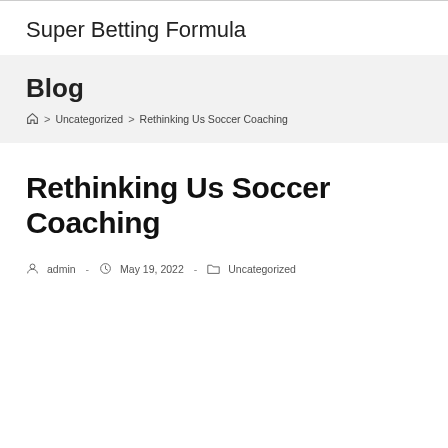Super Betting Formula
Blog
Home > Uncategorized > Rethinking Us Soccer Coaching
Rethinking Us Soccer Coaching
admin - May 19, 2022 - Uncategorized